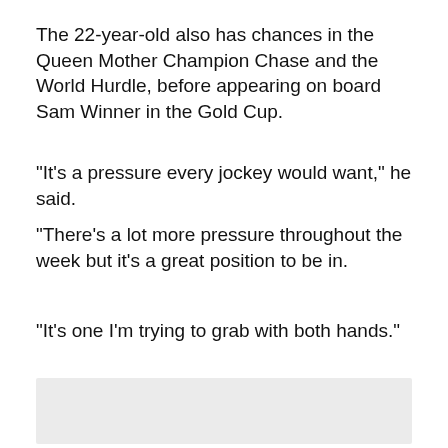The 22-year-old also has chances in the Queen Mother Champion Chase and the World Hurdle, before appearing on board Sam Winner in the Gold Cup.
"It's a pressure every jockey would want," he said.
"There's a lot more pressure throughout the week but it's a great position to be in.
"It's one I'm trying to grab with both hands."
[Figure (other): Gray placeholder box]